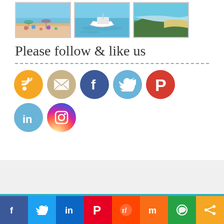[Figure (photo): Three beach/ocean photos in a horizontal strip: crowded beach with umbrellas, a boat in turquoise water, aerial view of coastline]
Please follow & like us
[Figure (infographic): Social media icon buttons: RSS (orange), Email (tan), Facebook (blue), Twitter (light blue), Pinterest (red), LinkedIn (light blue), Instagram (gradient)]
[Figure (infographic): Social share bar at bottom with Facebook, Twitter, LinkedIn, Pinterest, Reddit, Mix, WhatsApp, and Share buttons]